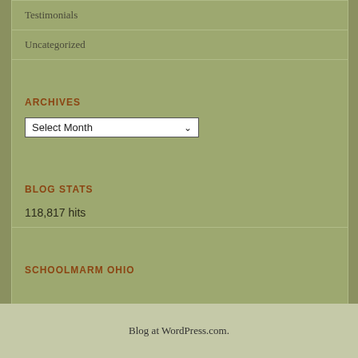Testimonials
Uncategorized
ARCHIVES
[Figure (screenshot): A dropdown select element showing 'Select Month' with a dropdown arrow]
BLOG STATS
118,817 hits
SCHOOLMARM OHIO
Blog at WordPress.com.